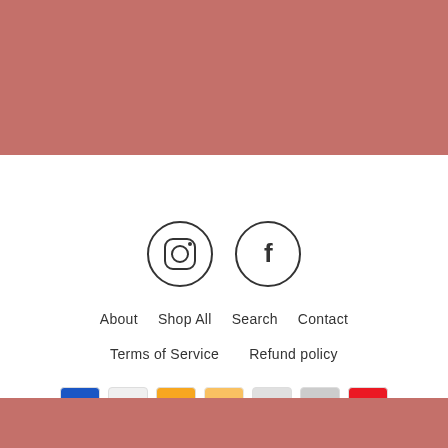[Figure (illustration): Solid dusty rose/terracotta colored header banner area]
[Figure (illustration): Instagram and Facebook social media icons in circles]
About
Shop All
Search
Contact
Terms of Service
Refund policy
[Figure (illustration): Payment method icons: American Express, Apple Pay, Diners, Discover, and others partially visible]
MENU
© 2022 Courtyard Style    Powered by Ben Zeltler Digital Media